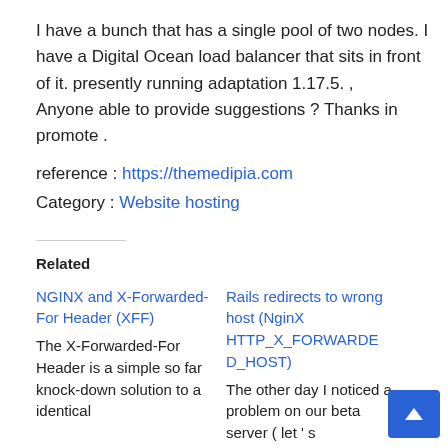I have a bunch that has a single pool of two nodes. I have a Digital Ocean load balancer that sits in front of it. presently running adaptation 1.17.5. , Anyone able to provide suggestions ? Thanks in promote .
reference : https://themedipia.com
Category : Website hosting
Related
NGINX and X-Forwarded-For Header (XFF)
The X-Forwarded-For Header is a simple so far knock-down solution to a identical
Rails redirects to wrong host (NginX HTTP_X_FORWARDED_HOST)
The other day I noticed a problem on our beta server ( let ' s